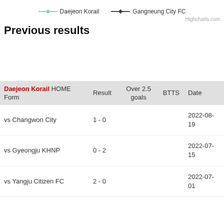[Figure (other): Legend showing Daejeon Korail (light blue line with diamond marker) and Gangneung City FC (dark line with diamond marker)]
Highcharts.com
Previous results
| Daejeon Korail HOME Form | Result | Over 2.5 goals | BTTS | Date |
| --- | --- | --- | --- | --- |
| vs Changwon City | 1 - 0 |  |  | 2022-08-19 |
| vs Gyeongju KHNP | 0 - 2 |  |  | 2022-07-15 |
| vs Yangju Citizen FC | 2 - 0 |  |  | 2022-07-01 |